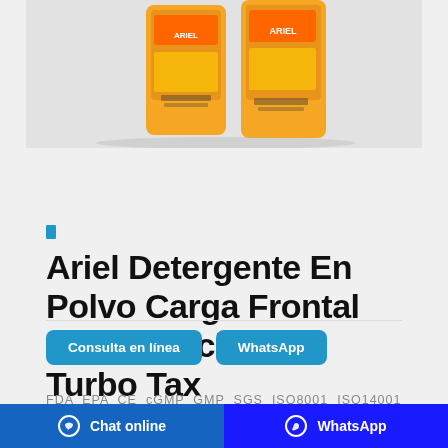[Figure (photo): Product photo of Ariel detergent powder bags, orange packaging with labels visible, on grey background]
Ariel Detergente En Polvo Carga Frontal Mejor Precio 2020 Turbo Tax
Consulta en línea   WhatsApp
FDA  EPA  CE  cGMP  GMP  SGS  ISO8001  ISO14001
Chat online   WhatsApp